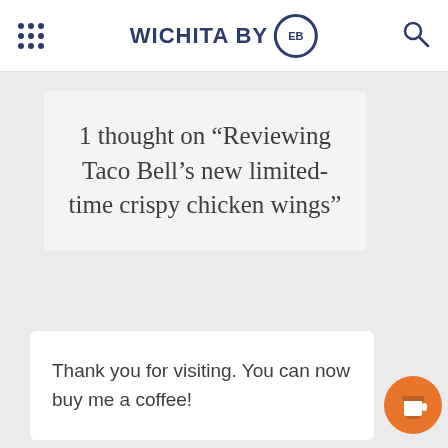WICHITA BY EB
1 thought on “Reviewing Taco Bell’s new limited-time crispy chicken wings”
Thank you for visiting. You can now buy me a coffee!